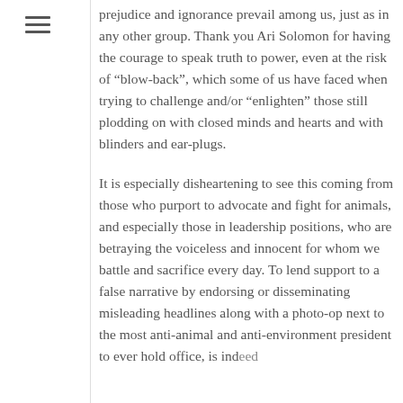prejudice and ignorance prevail among us, just as in any other group. Thank you Ari Solomon for having the courage to speak truth to power, even at the risk of “blow-back”, which some of us have faced when trying to challenge and/or “enlighten” those still plodding on with closed minds and hearts and with blinders and ear-plugs.
It is especially disheartening to see this coming from those who purport to advocate and fight for animals, and especially those in leadership positions, who are betraying the voiceless and innocent for whom we battle and sacrifice every day. To lend support to a false narrative by endorsing or disseminating misleading headlines along with a photo-op next to the most anti-animal and anti-environment president to ever hold office, is indeed...